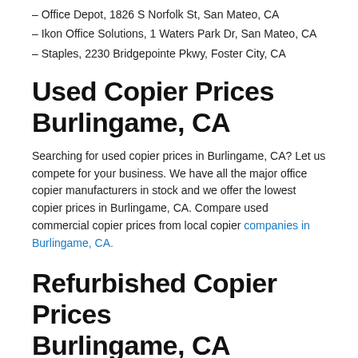– Office Depot, 1826 S Norfolk St, San Mateo, CA
– Ikon Office Solutions, 1 Waters Park Dr, San Mateo, CA
– Staples, 2230 Bridgepointe Pkwy, Foster City, CA
Used Copier Prices Burlingame, CA
Searching for used copier prices in Burlingame, CA? Let us compete for your business. We have all the major office copier manufacturers in stock and we offer the lowest copier prices in Burlingame, CA. Compare used commercial copier prices from local copier companies in Burlingame, CA.
Refurbished Copier Prices Burlingame, CA